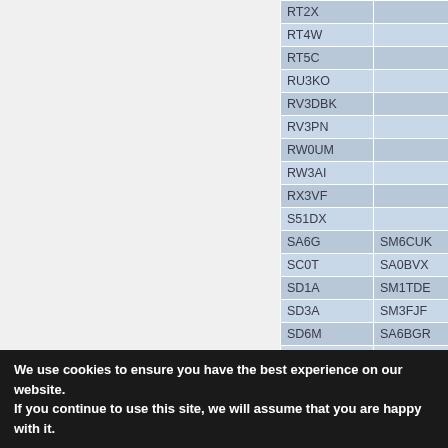| Callsign | Member |
| --- | --- |
| RT2X |  |
| RT4W |  |
| RT5C |  |
| RU3KO |  |
| RV3DBK |  |
| RV3PN |  |
| RW0UM |  |
| RW3AI |  |
| RX3VF |  |
| S51DX |  |
| SA6G | SM6CUK |
| SC0T | SA0BVX |
| SD1A | SM1TDE |
| SD3A | SM3FJF |
| SD6M | SA6BGR |
| SE0B | SA0BXV |
| SE4E | SM4DQE |
| SE6K | SM6FZO |
| SF0A | SM0LPO |
| SF0D | SM0DSF |
| SF1U | SM1NJC |
| SF5O | SM0EOS |
| SF6W | SM6EWB |
| SK5AA | SM5KRI |
We use cookies to ensure you have the best experience on our website. If you continue to use this site, we will assume that you are happy with it.